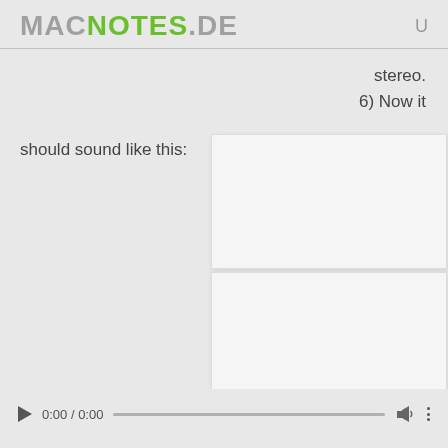MACNOTES.DE  U
stereo.
6) Now it
should sound like this:
[Figure (screenshot): Two stacked white image/media placeholder boxes]
[Figure (screenshot): Audio player bar with play button, 0:00 / 0:00, progress bar, volume icon, and more options icon]